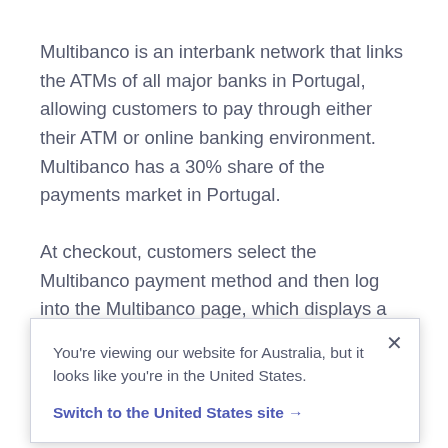Multibanco is an interbank network that links the ATMs of all major banks in Portugal, allowing customers to pay through either their ATM or online banking environment. Multibanco has a 30% share of the payments market in Portugal.
At checkout, customers select the Multibanco payment method and then log into the Multibanco page, which displays a reference number and other transaction details. Customers use these details to initiate a payment via online banking or from an ATM.
You're viewing our website for Australia, but it looks like you're in the United States.
Switch to the United States site →
take up to a few days depending on how and when